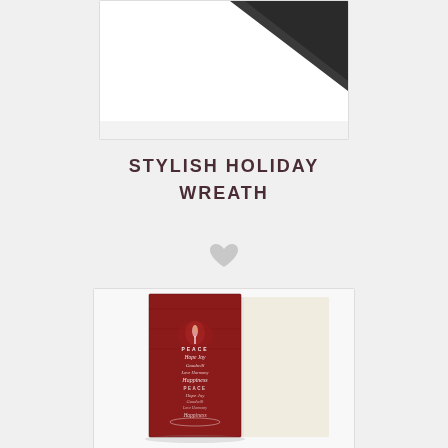[Figure (photo): Partial view of a greeting card product against white background, top portion visible showing dark cover corner]
STYLISH HOLIDAY WREATH
[Figure (illustration): Gray heart icon (favorite/wishlist button)]
[Figure (photo): Holiday greeting card product showing front and inside pages. Front cover is deep red with a candle flame design and words: PEACE, Hope Joy, Goodwill, Love Harmony, Happiness, PEACE, Hope Joy, Goodwill, Love Harmony, Happiness arranged in a tree shape. Inside page is ivory/cream colored.]